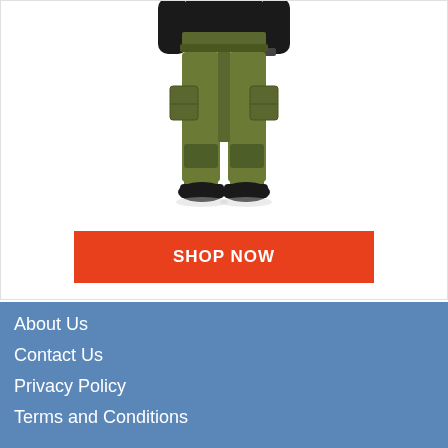[Figure (photo): Man wearing olive/ranger green tactical cargo pants with cargo pockets, black shoes and black shirt. The image is cropped to show roughly waist to feet of the person.]
SHOP NOW
About Us
Contact Us
Privacy Policy
Terms and Conditions